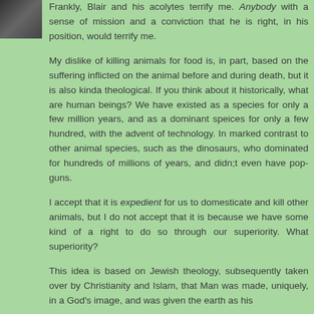[Figure (photo): Small avatar photo of a person in the top-left corner]
Frankly, Blair and his acolytes terrify me. Anybody with a sense of mission and a conviction that he is right, in his position, would terrify me.
My dislike of killing animals for food is, in part, based on the suffering inflicted on the animal before and during death, but it is also kinda theological. If you think about it historically, what are human beings? We have existed as a species for only a few million years, and as a dominant speices for only a few hundred, with the advent of technology. In marked contrast to other animal species, such as the dinosaurs, who dominated for hundreds of millions of years, and didn;t even have pop-guns.
I accept that it is expedient for us to domesticate and kill other animals, but I do not accept that it is because we have some kind of a right to do so through our superiority. What superiority?
This idea is based on Jewish theology, subsequently taken over by Christianity and Islam, that Man was made, uniquely, in a God's image, and was given the earth as his